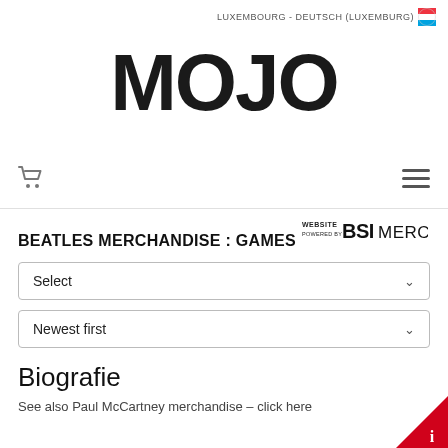LUXEMBOURG - DEUTSCH (LUXEMBURG)
[Figure (logo): MOJO brand logo in large bold black uppercase letters]
[Figure (logo): Navigation bar with shopping cart icon and hamburger menu icon]
[Figure (logo): WEBSITE POWERED BY BSI MERCH logo]
BEATLES MERCHANDISE : GAMES
Select
Newest first
Biografie
See also Paul McCartney merchandise – click here